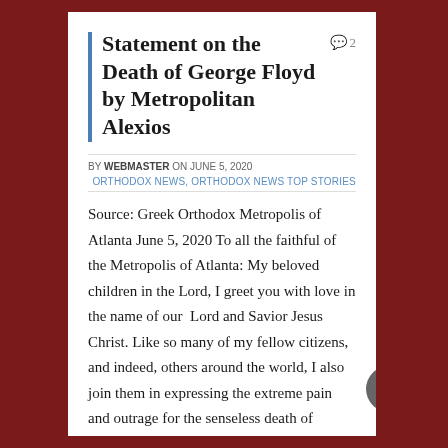Statement on the Death of George Floyd by Metropolitan Alexios
BY WEBMASTER ON JUNE 5, 2020
ORTHODOX NEWS, ORTHODOX NEWS TOP STORIES
Source: Greek Orthodox Metropolis of Atlanta June 5, 2020 To all the faithful of the Metropolis of Atlanta: My beloved children in the Lord, I greet you with love in the name of our Lord and Savior Jesus Christ. Like so many of my fellow citizens, and indeed, others around the world, I also join them in expressing the extreme pain and outrage for the senseless death of George Floyd. In the week that has followed, our country